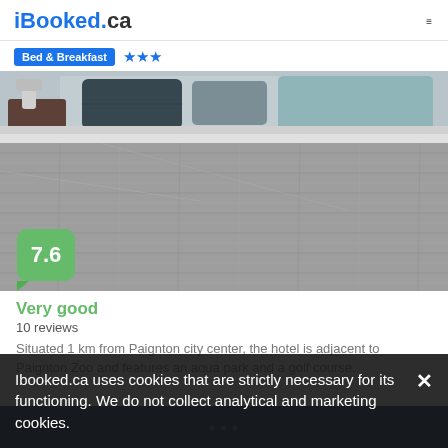iBooked.ca
Bed & Breakfast ★★★
[Figure (photo): Hotel bedroom with a double bed covered in a grey waffle-knit blanket, blue and grey pillows, and a wooden nightstand with a lamp. Score badge showing 7.6 in green.]
Very good
10 reviews
Situated 1 km from Paignton city center, the hotel is adjacent to Paignton Zoo and features an aqua park and a golf course.
Ibooked.ca uses cookies that are strictly necessary for its functioning. We do not collect analytical and marketing cookies.